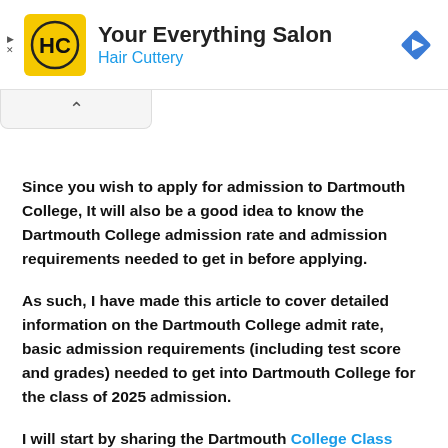[Figure (logo): Hair Cuttery advertisement banner with HC logo in yellow square, text 'Your Everything Salon' and 'Hair Cuttery' in blue, and a blue diamond navigation arrow icon on the right.]
Since you wish to apply for admission to Dartmouth College, It will also be a good idea to know the Dartmouth College admission rate and admission requirements needed to get in before applying.
As such, I have made this article to cover detailed information on the Dartmouth College admit rate, basic admission requirements (including test score and grades) needed to get into Dartmouth College for the class of 2025 admission.
I will start by sharing the Dartmouth College Class profile with